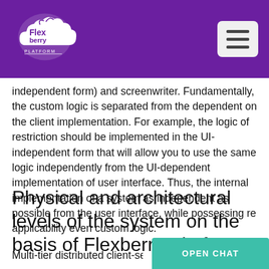Flexberry Platform
independent form) and screenwriter. Fundamentally, the custom logic is separated from the dependent on the client implementation. For example, the logic of restriction should be implemented in the UI-independent form that will allow you to use the same logic independently from the UI-dependent implementation of user interface. Thus, the internal implementation of a system as independent as possible from the user interface, while possessing re applicability even custom logic.
Physical and architectural levels of the system on the basis of Flexberry Platform
Multi-tier distributed client-server archit...